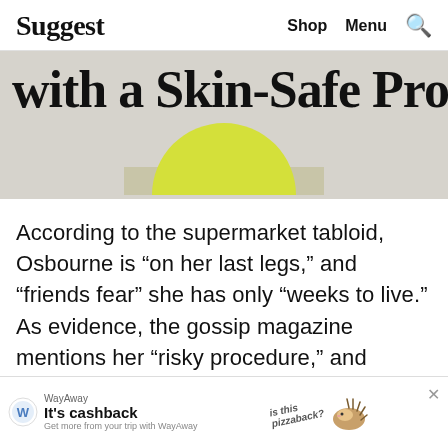Suggest   Shop   Menu   🔍
with a Skin-Safe Prom
[Figure (illustration): Yellow semicircle sun rising over a gray-green horizon strip on a warm gray background]
According to the supermarket tabloid, Osbourne is “on her last legs,” and “friends fear” she has only “weeks to live.” As evidence, the gossip magazine mentions her “risky procedure,” and asserts she appeared “frail” as she walked with a cane at Elton John’s star-studded birthday back in March. The
[Figure (screenshot): WayAway advertisement banner: logo, headline 'It’s cashback', subtext 'Get more from your trip with WayAway', pizzaback illustration with hedgehog, close button X]